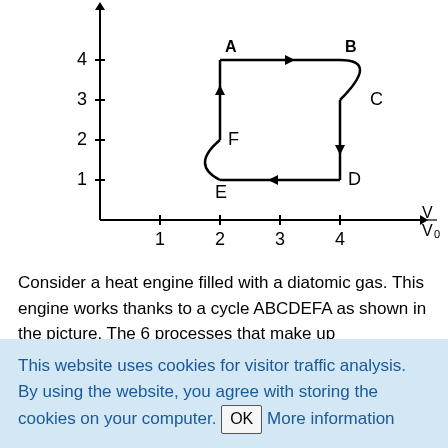[Figure (continuous-plot): Thermodynamic cycle diagram (PV diagram) showing a cycle ABCDEFA for a heat engine with diatomic gas. Y-axis shows pressure (unlabeled, ticks at 1,2,3,4), X-axis shows V/V0 (ticks at 1,2,3,4). Points labeled A (top-left, ~(2,4)), B (top-right, ~(4,4)), C (right, ~(4,3)), D (right-bottom, ~(4,1)), E (bottom, ~(2,1)), F (left-mid, ~(2,2)). Arrows indicate cycle direction.]
Consider a heat engine filled with a diatomic gas. This engine works thanks to a cycle ABCDEFA as shown in the picture. The 6 processes that make up
This website uses cookies for visitor traffic analysis. By using the website, you agree with storing the cookies on your computer. OK More information